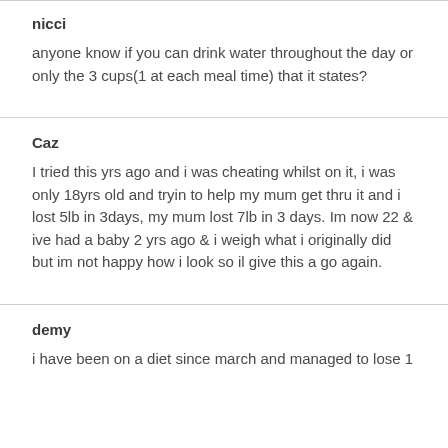nicci
anyone know if you can drink water throughout the day or only the 3 cups(1 at each meal time) that it states?
Caz
I tried this yrs ago and i was cheating whilst on it, i was only 18yrs old and tryin to help my mum get thru it and i lost 5lb in 3days, my mum lost 7lb in 3 days. Im now 22 & ive had a baby 2 yrs ago & i weigh what i originally did but im not happy how i look so il give this a go again.
demy
i have been on a diet since march and managed to lose 1